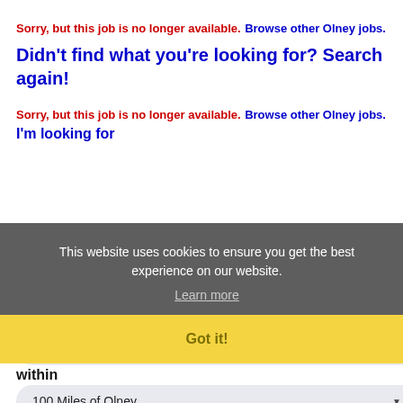Sorry, but this job is no longer available. Browse other Olney jobs.
Didn't find what you're looking for? Search again!
Sorry, but this job is no longer available. Browse other Olney jobs.
I'm looking for
[Figure (screenshot): Cookie consent overlay with message 'This website uses cookies to ensure you get the best experience on our website.' with a 'Learn more' link and a yellow 'Got it!' button.]
in category
ALL
within
100 Miles of Olney